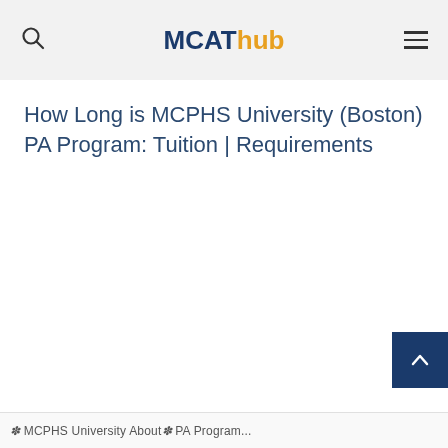MCATHub
How Long is MCPHS University (Boston) PA Program: Tuition | Requirements